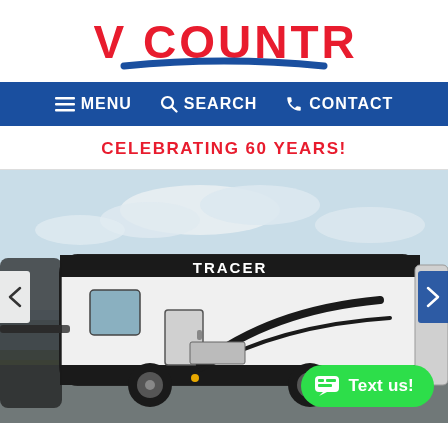[Figure (logo): RV Country logo — bold red text 'RV COUNTRY' with a blue swoosh underline]
MENU   SEARCH   CONTACT
CELEBRATING 60 YEARS!
[Figure (photo): Photograph of a white and black Tracer travel trailer RV on a dealership lot, with navigation arrows on left and right sides and a green 'Text us!' chat button in the lower right]